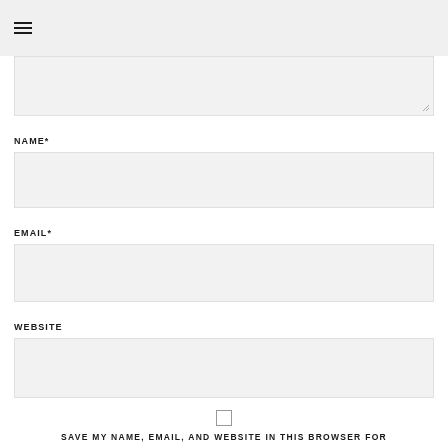☰
NAME*
EMAIL*
WEBSITE
SAVE MY NAME, EMAIL, AND WEBSITE IN THIS BROWSER FOR